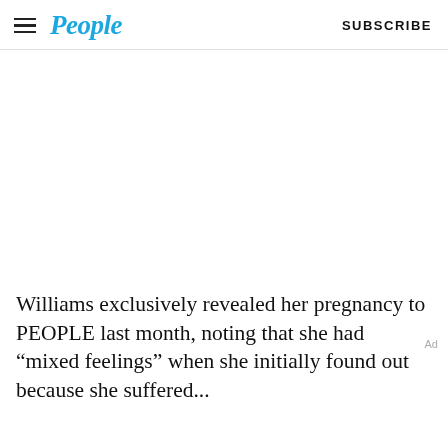People  SUBSCRIBE
[Figure (photo): Large image area (white/blank) occupying the upper-middle portion of the page]
Ad
Williams exclusively revealed her pregnancy to PEOPLE last month, noting that she had “mixed feelings” when she initially found out because she suffered...